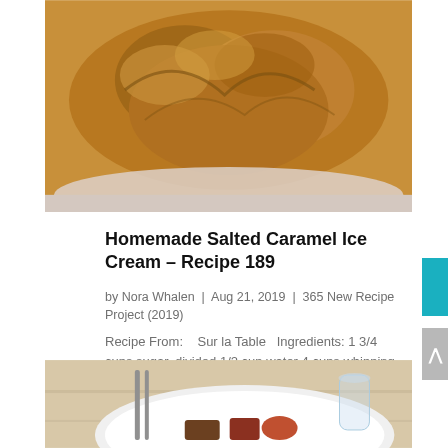[Figure (photo): Top portion of a bowl of homemade salted caramel ice cream, golden-brown colored ice cream visible in a white bowl with a dark red/maroon exterior.]
Homemade Salted Caramel Ice Cream – Recipe 189
by Nora Whalen | Aug 21, 2019 | 365 New Recipe Project (2019)
Recipe From:    Sur la Table   Ingredients: 1 3/4 cups sugar, divided 1/2 cup water 4 cups whipping cream 6 large egg yolks 1 tablespoon vanilla bean paste 2 teaspoons sea salt, plus more as needed   Directions: Place 1 1/2 cups sugar and  water in heavy…
[Figure (photo): Bottom portion showing a plate of food with what appears to be dessert items, a glass visible in the background, on a light wooden surface.]